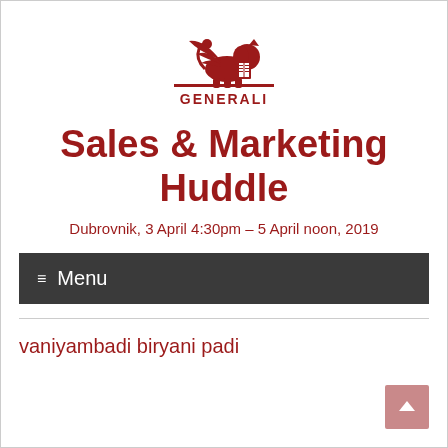[Figure (logo): Generali winged lion logo in red with text GENERALI below]
Sales & Marketing Huddle
Dubrovnik, 3 April 4:30pm – 5 April noon, 2019
☰ Menu
vaniyambadi biryani padi